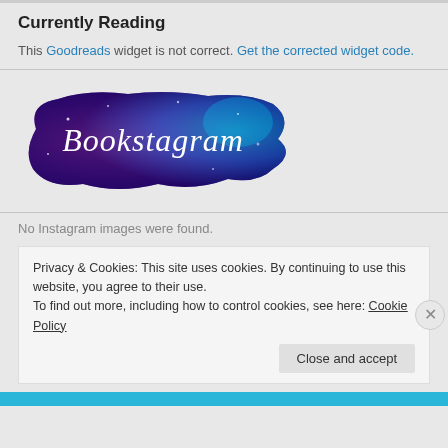Currently Reading
This Goodreads widget is not correct. Get the corrected widget code.
[Figure (logo): Bookstagram logo with colorful galaxy paint splash background and white cursive text reading 'Bookstagram']
No Instagram images were found.
Privacy & Cookies: This site uses cookies. By continuing to use this website, you agree to their use.
To find out more, including how to control cookies, see here: Cookie Policy
Close and accept